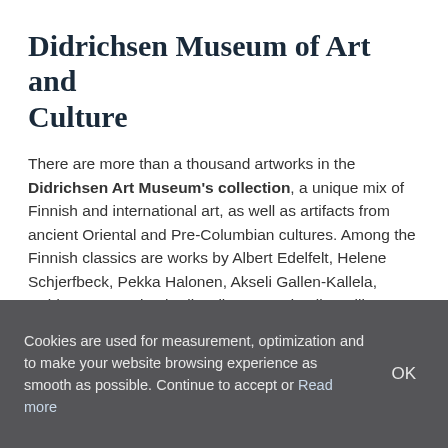Didrichsen Museum of Art and Culture
There are more than a thousand artworks in the Didrichsen Art Museum's collection, a unique mix of Finnish and international art, as well as artifacts from ancient Oriental and Pre-Columbian cultures. Among the Finnish classics are works by Albert Edelfelt, Helene Schjerfbeck, Pekka Halonen, Akseli Gallen-Kallela, Reidar Särestöniemi, Eila Hiltunen and Laila Pullinen. International artists in the collection include Pablo Picasso, Joan Miró, Wassily Kandinsky, Fernand Léger, Henry Moore, Alberto Giacometti and Mark Rothko.
Cookies are used for measurement, optimization and to make your website browsing experience as smooth as possible. Continue to accept or Read more